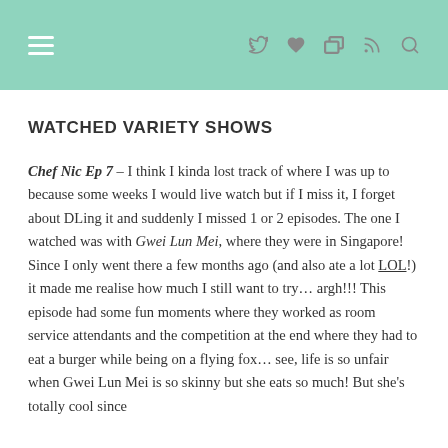☰   ♡  t  ⌂  🔍
WATCHED VARIETY SHOWS
Chef Nic Ep 7 – I think I kinda lost track of where I was up to because some weeks I would live watch but if I miss it, I forget about DLing it and suddenly I missed 1 or 2 episodes. The one I watched was with Gwei Lun Mei, where they were in Singapore! Since I only went there a few months ago (and also ate a lot LOL!) it made me realise how much I still want to try… argh!!! This episode had some fun moments where they worked as room service attendants and the competition at the end where they had to eat a burger while being on a flying fox… see, life is so unfair when Gwei Lun Mei is so skinny but she eats so much! But she's totally cool since